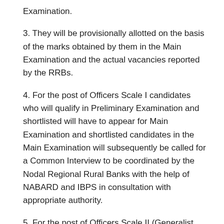Examination.
3. They will be provisionally allotted on the basis of the marks obtained by them in the Main Examination and the actual vacancies reported by the RRBs.
4. For the post of Officers Scale I candidates who will qualify in Preliminary Examination and shortlisted will have to appear for Main Examination and shortlisted candidates in the Main Examination will subsequently be called for a Common Interview to be coordinated by the Nodal Regional Rural Banks with the help of NABARD and IBPS in consultation with appropriate authority.
5. For the post of Officers Scale II (Generalist and Specialists) and Scale III candidates will appear for Single Online Examination